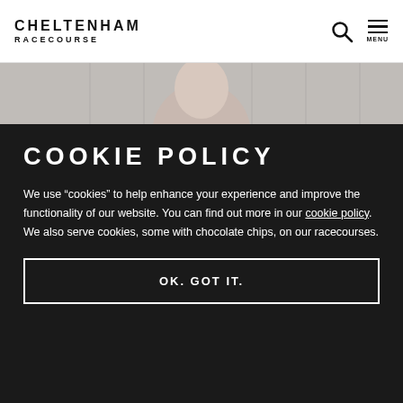CHELTENHAM RACECOURSE
[Figure (photo): Partial photo of a smiling woman, cropped to show top of head and face, light background]
COOKIE POLICY
We use “cookies” to help enhance your experience and improve the functionality of our website. You can find out more in our cookie policy. We also serve cookies, some with chocolate chips, on our racecourses.
OK. GOT IT.